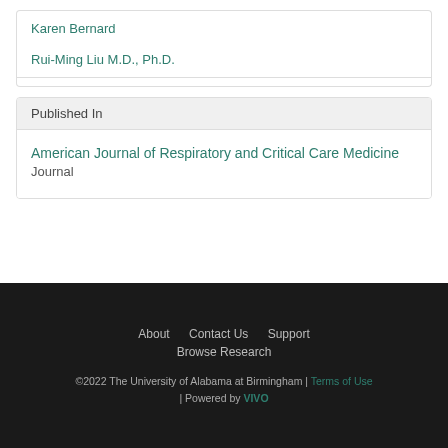Karen Bernard
Rui-Ming Liu M.D., Ph.D.
Published In
American Journal of Respiratory and Critical Care Medicine  Journal
About   Contact Us   Support   Browse Research   ©2022 The University of Alabama at Birmingham | Terms of Use | Powered by VIVO